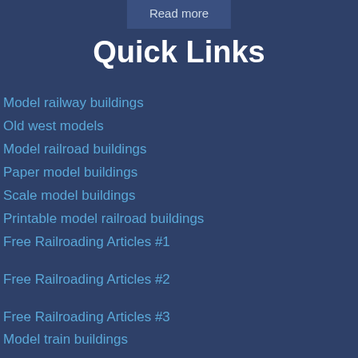Read more
Quick Links
Model railway buildings
Old west models
Model railroad buildings
Paper model buildings
Scale model buildings
Printable model railroad buildings
Free Railroading Articles #1
Free Railroading Articles #2
Free Railroading Articles #3
Model train buildings
Paper house models